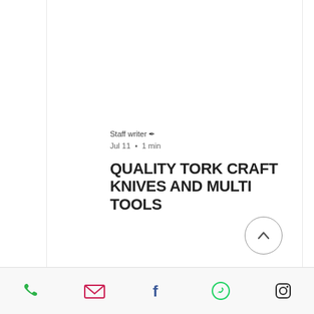[Figure (photo): Photo of various Tork Craft folding knives and multi-tools arranged in a fan pattern, featuring red, green, silver, and black handled knives with blades open]
Staff writer ✒
Jul 11 · 1 min
QUALITY TORK CRAFT KNIVES AND MULTI TOOLS
[Figure (other): Scroll-to-top button: circle with upward chevron]
Phone | Email | Facebook | WhatsApp | Instagram icons